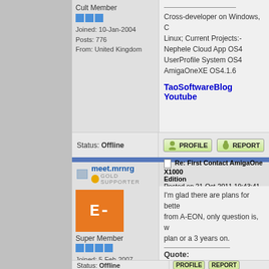Cult Member
Joined: 10-Jan-2004
Posts: 776
From: United Kingdom
Cross-developer on Windows, C Linux; Current Projects:- Nephele Cloud App OS4 UserProfile System OS4 AmigaOneXE OS4.1.6
TaoSoftwareBlog Youtube
Status: Offline
PROFILE
REPORT
meet.mrnrg
GOLD SUPPORTER
Re: First Contact AmigaOne X1000 Edition
Posted on 21-Oct-2011 19:43:41
Super Member
Joined: 5-Feb-2007
Posts: 1919
From: UK, AUS, US
I'm glad there are plans for bette from A-EON, only question is, w plan or a 3 years on.
Quote:
Easy Pocket Money, Freelancers & Expe
MiniMig FPGA, Sam440 Flex 73 Amiga OS 4.1 Update 2, Morph AmiKit + Cloanto Amiga Foreve UAE, AmigaSYS
Status: Offline